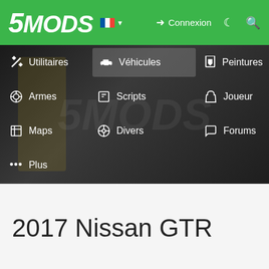5MODS — Connexion
[Figure (screenshot): 5MODS website navigation menu screenshot showing categories: Utilitaires, Véhicules (highlighted), Peintures, Armes, Scripts, Joueur, Maps, Divers, Forums, Plus with icons on a dark background with green header]
2017 Nissan GTR